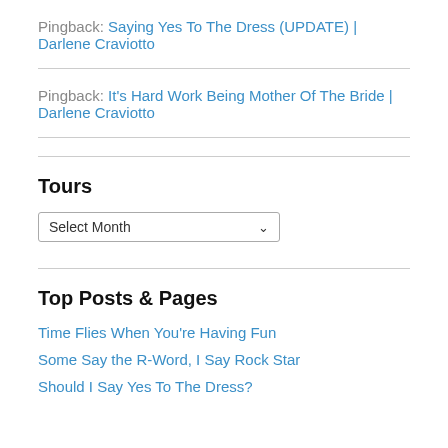Pingback: Saying Yes To The Dress (UPDATE) | Darlene Craviotto
Pingback: It's Hard Work Being Mother Of The Bride | Darlene Craviotto
Tours
Select Month
Top Posts & Pages
Time Flies When You're Having Fun
Some Say the R-Word, I Say Rock Star
Should I Say Yes To The Dress?